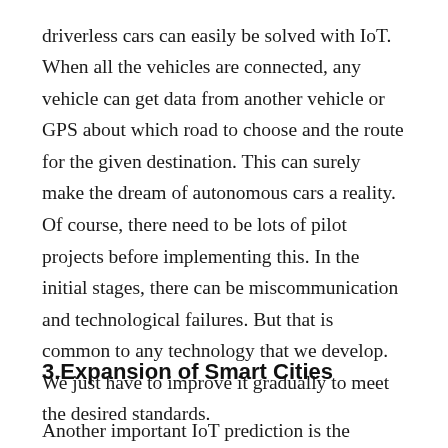driverless cars can easily be solved with IoT. When all the vehicles are connected, any vehicle can get data from another vehicle or GPS about which road to choose and the route for the given destination. This can surely make the dream of autonomous cars a reality. Of course, there need to be lots of pilot projects before implementing this. In the initial stages, there can be miscommunication and technological failures. But that is common to any technology that we develop. We just have to improve it gradually to meet the desired standards.
3.Expansion of Smart Cities
Another important IoT prediction is the expansion of